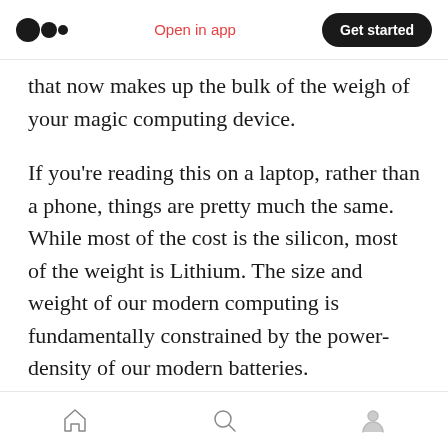Medium logo | Open in app | Get started
that now makes up the bulk of the weigh of your magic computing device.
If you're reading this on a laptop, rather than a phone, things are pretty much the same. While most of the cost is the silicon, most of the weight is Lithium. The size and weight of our modern computing is fundamentally constrained by the power-density of our modern batteries.
As the phones and laptops get smaller and weigh less, the batteries make up more and more of the product. Open up any phone or laptop today and
Home | Search | Profile